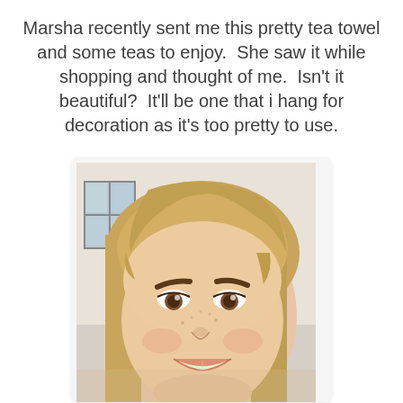Marsha recently sent me this pretty tea towel and some teas to enjoy.  She saw it while shopping and thought of me.  Isn't it beautiful?  It'll be one that i hang for decoration as it's too pretty to use.
[Figure (photo): Close-up selfie of a young girl with blonde hair and a big smile, taken indoors with a window visible in the background.]